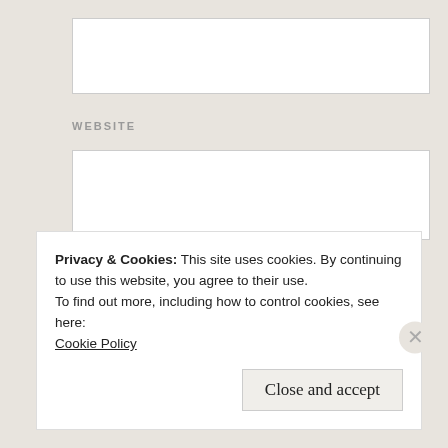[Figure (screenshot): Empty text input box at top of form]
WEBSITE
[Figure (screenshot): Empty website URL input box]
POST COMMENT
Privacy & Cookies: This site uses cookies. By continuing to use this website, you agree to their use.
To find out more, including how to control cookies, see here:
Cookie Policy
Close and accept